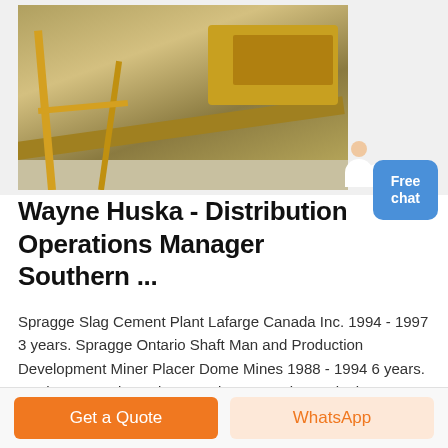[Figure (photo): Mining/industrial equipment photo showing yellow conveyor structure and processing machinery]
Wayne Huska - Distribution Operations Manager Southern ...
Spragge Slag Cement Plant Lafarge Canada Inc. 1994 - 1997 3 years. Spragge Ontario Shaft Man and Production Development Miner Placer Dome Mines 1988 - 1994 6 years. Northern Ontario Underground Construction and Mine Services Falconbridge Mines, Kidd Creek Mine 1981 - ...